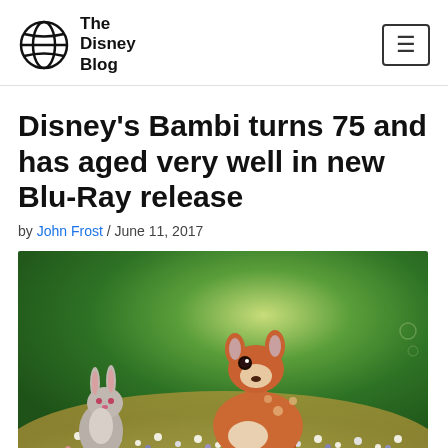The Disney Blog
Disney's Bambi turns 75 and has aged very well in new Blu-Ray release
by John Frost / June 11, 2017
[Figure (photo): Still from Disney's Bambi animated film showing Bambi (a young deer) and Thumper (a rabbit) among colorful flowers with green foliage in the background]